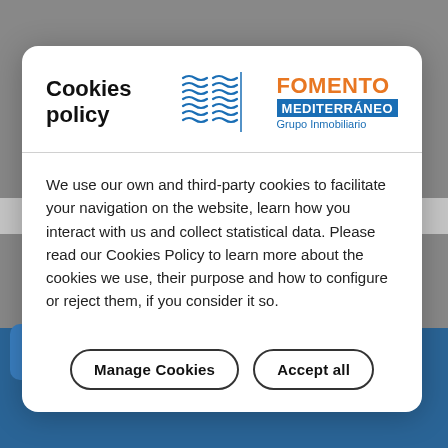[Figure (screenshot): Website background with grey overlay and blue bottom section, partially obscured by a cookie consent modal dialog.]
Cookies policy
[Figure (logo): Fomento Mediterráneo Grupo Inmobiliario logo with blue wave graphics, orange FOMENTO text, blue MEDITERRÁNEO box, and blue Grupo Inmobiliario text]
We use our own and third-party cookies to facilitate your navigation on the website, learn how you interact with us and collect statistical data. Please read our Cookies Policy to learn more about the cookies we use, their purpose and how to configure or reject them, if you consider it so.
Manage Cookies
Accept all